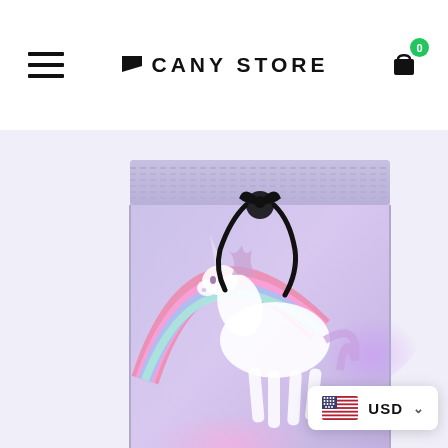CANY STORE
[Figure (photo): Product image of swim shorts featuring a unicorn and rainbow print on a pastel purple/lavender background, with black drawstring tie at waist]
USD (currency selector widget)